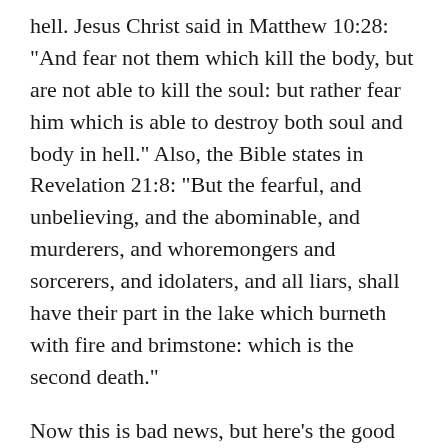hell. Jesus Christ said in Matthew 10:28: “And fear not them which kill the body, but are not able to kill the soul: but rather fear him which is able to destroy both soul and body in hell.” Also, the Bible states in Revelation 21:8: “But the fearful, and unbelieving, and the abominable, and murderers, and whoremongers and sorcerers, and idolaters, and all liars, shall have their part in the lake which burneth with fire and brimstone: which is the second death.”
Now this is bad news, but here’s the good news. Jesus Christ said in John 3:16: “For God so loved the world, that he gave his only begotten Son,